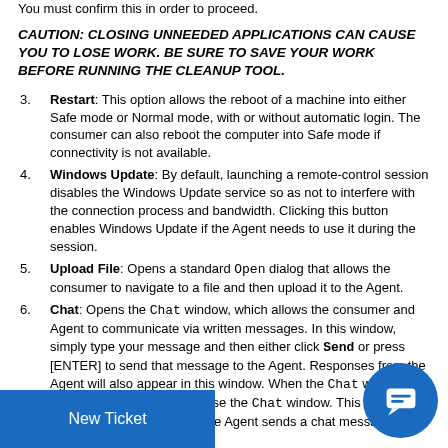You must confirm this in order to proceed.
CAUTION: CLOSING UNNEEDED APPLICATIONS CAN CAUSE YOU TO LOSE WORK. BE SURE TO SAVE YOUR WORK BEFORE RUNNING THE CLEANUP TOOL.
3. Restart: This option allows the reboot of a machine into either Safe mode or Normal mode, with or without automatic login. The consumer can also reboot the computer into Safe mode if connectivity is not available.
4. Windows Update: By default, launching a remote-control session disables the Windows Update service so as not to interfere with the connection process and bandwidth. Clicking this button enables Windows Update if the Agent needs to use it during the session.
5. Upload File: Opens a standard Open dialog that allows the consumer to navigate to a file and then upload it to the Agent.
6. Chat: Opens the Chat window, which allows the consumer and Agent to communicate via written messages. In this window, simply type your message and then either click Send or press [ENTER] to send that message to the Agent. Responses from the Agent will also appear in this window. When the Chat window is open, clicking this button close the Chat window. This window automatically opens when the Agent sends a chat message to the consumer.
7. Pause/Start Remote Control: Toggles remote control on and off. See Pause Remote Control.
8. End Session: Ends the session and disconnects the consumer's computer from...